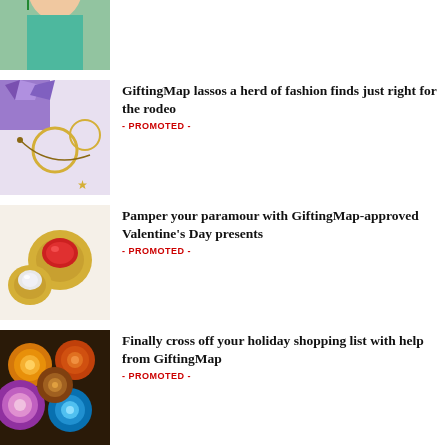[Figure (photo): Woman wearing floral earrings and teal top]
awesome gift ideas
- PROMOTED -
[Figure (photo): Jewelry items including necklaces and bracelets on white background]
GiftingMap lassos a herd of fashion finds just right for the rodeo
- PROMOTED -
[Figure (photo): Gold rings with gemstones on white background]
Pamper your paramour with GiftingMap-approved Valentine's Day presents
- PROMOTED -
[Figure (photo): Colorful agate stone coasters on dark background]
Finally cross off your holiday shopping list with help from GiftingMap
- PROMOTED -
[Figure (photo): Dark product image]
GiftingMap saves the season with a list of